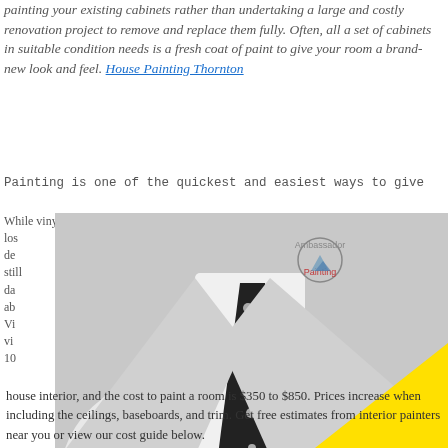painting your existing cabinets rather than undertaking a large and costly renovation project to remove and replace them fully. Often, all a set of cabinets in suitable condition needs is a fresh coat of paint to give your room a brand-new look and feel. House Painting Thornton
Painting is one of the quickest and easiest ways to give
While vinyl siding salespeople claim it never needs to be painted, it does los... de... still da... ab... Vi... vi... 10...
[Figure (photo): Black and white photo of a person in a white suit jacket with a black polka-dot tie and pocket square, with an Ambassador Painting logo visible on the upper right, overlaid with a large bright yellow triangle shape on the right side.]
house interior, and the cost to paint a room is $350 to $850. Prices increase when including the ceilings, baseboards, and trim. Get free estimates from interior painters near you or view our cost guide below.